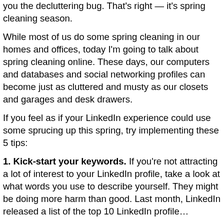you the decluttering bug. That's right — it's spring cleaning season.
While most of us do some spring cleaning in our homes and offices, today I'm going to talk about spring cleaning online. These days, our computers and databases and social networking profiles can become just as cluttered and musty as our closets and garages and desk drawers.
If you feel as if your LinkedIn experience could use some sprucing up this spring, try implementing these 5 tips:
1. Kick-start your keywords. If you're not attracting a lot of interest to your LinkedIn profile, take a look at what words you use to describe yourself. They might be doing more harm than good. Last month, LinkedIn released a list of the top 10 LinkedIn profile...